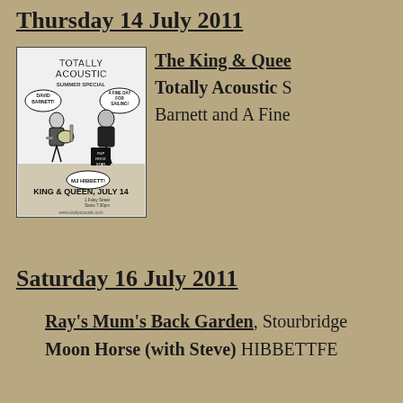Thursday 14 July 2011
[Figure (illustration): Promotional poster for Totally Acoustic Summer Special at King & Queen, July 14. Features cartoon characters including David Barnett, MJ Hibbett, and A Fine Day For Sailing. Website: www.totallyacoustic.com, 1 Foley Street, Starts 7.30pm.]
The King & Queen, Totally Acoustic Summer Special featuring David Barnett and A Fine Day
Saturday 16 July 2011
Ray's Mum's Back Garden, Stourbridge
Moon Horse (with Steve) HIBBETTFE